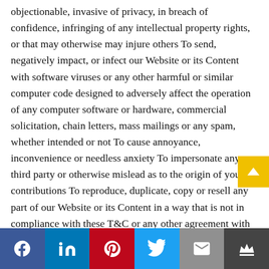objectionable, invasive of privacy, in breach of confidence, infringing of any intellectual property rights, or that may otherwise may injure others To send, negatively impact, or infect our Website or its Content with software viruses or any other harmful or similar computer code designed to adversely affect the operation of any computer software or hardware, commercial solicitation, chain letters, mass mailings or any spam, whether intended or not To cause annoyance, inconvenience or needless anxiety To impersonate any third party or otherwise mislead as to the origin of your contributions To reproduce, duplicate, copy or resell any part of our Website or its Content in a way that is not in compliance with these T&C or any other agreement with us.
[Figure (other): Social media sharing footer bar with icons for Facebook, LinkedIn, Pinterest, Twitter, Email, and a crown/bookmark icon]